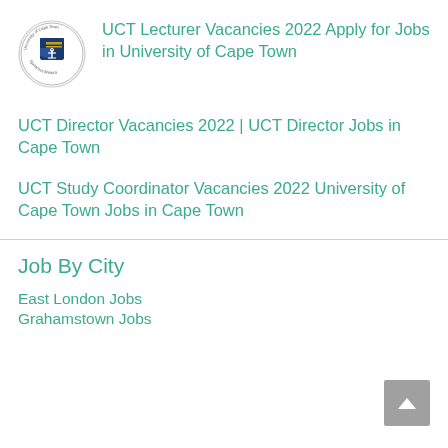[Figure (logo): University of Cape Town circular logo/crest]
UCT Lecturer Vacancies 2022 Apply for Jobs in University of Cape Town
UCT Director Vacancies 2022 | UCT Director Jobs in Cape Town
UCT Study Coordinator Vacancies 2022 University of Cape Town Jobs in Cape Town
Job By City
East London Jobs
Grahamstown Jobs